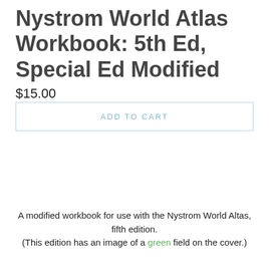Nystrom World Atlas Workbook: 5th Ed, Special Ed Modified
$15.00
ADD TO CART
A modified workbook for use with the Nystrom World Altas, fifth edition. (This edition has an image of a green field on the cover.)